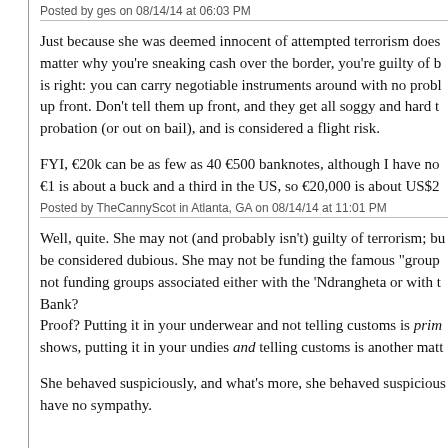Posted by ges on 08/14/14 at 06:03 PM
Just because she was deemed innocent of attempted terrorism does matter why you're sneaking cash over the border, you're guilty of b is right: you can carry negotiable instruments around with no probl up front. Don't tell them up front, and they get all soggy and hard t probation (or out on bail), and is considered a flight risk.
FYI, €20k can be as few as 40 €500 banknotes, although I have no €1 is about a buck and a third in the US, so €20,000 is about US$2
Posted by TheCannyScot in Atlanta, GA on 08/14/14 at 11:01 PM
Well, quite. She may not (and probably isn't) guilty of terrorism; bu be considered dubious. She may not be funding the famous "group not funding groups associated either with the 'Ndrangheta or with t Bank?
Proof? Putting it in your underwear and not telling customs is prima shows, putting it in your undies and telling customs is another matt
She behaved suspiciously, and what's more, she behaved suspicious have no sympathy.